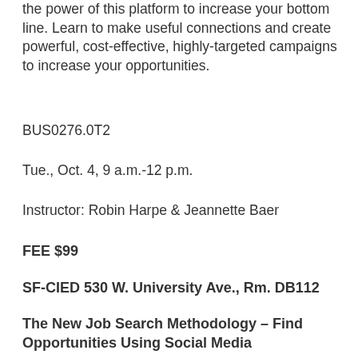the power of this platform to increase your bottom line. Learn to make useful connections and create powerful, cost-effective, highly-targeted campaigns to increase your opportunities.
BUS0276.0T2
Tue., Oct. 4, 9 a.m.-12 p.m.
Instructor: Robin Harpe & Jeannette Baer
FEE $99
SF-CIED 530 W. University Ave., Rm. DB112
The New Job Search Methodology – Find Opportunities Using Social Media